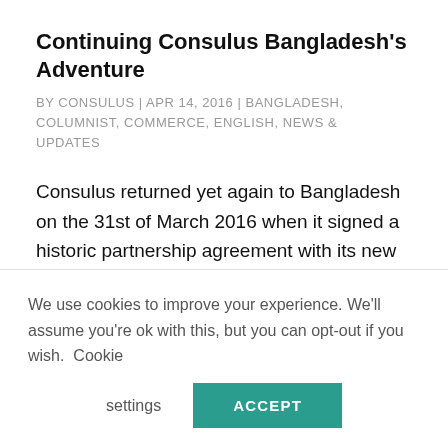Continuing Consulus Bangladesh's Adventure
BY CONSULUS | APR 14, 2016 | BANGLADESH, COLUMNIST, COMMERCE, ENGLISH, NEWS & UPDATES
Consulus returned yet again to Bangladesh on the 31st of March 2016 when it signed a historic partnership agreement with its new partner, Roop. Consulus began the friendship with Bangladesh in 2012 after
We use cookies to improve your experience. We'll assume you're ok with this, but you can opt-out if you wish. Cookie settings ACCEPT